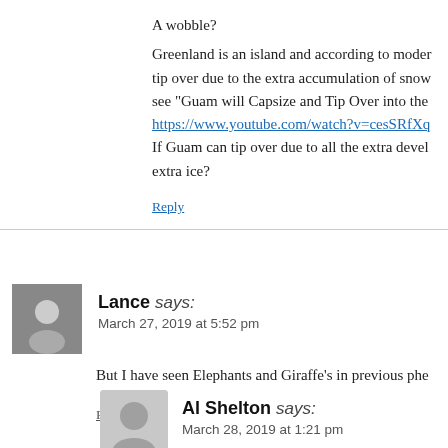A wobble?
Greenland is an island and according to moder... tip over due to the extra accumulation of snow... see "Guam will Capsize and Tip Over into the...
https://www.youtube.com/watch?v=cesSRfXq...
If Guam can tip over due to all the extra devel... extra ice?
Reply
Lance says:
March 27, 2019 at 5:52 pm
But I have seen Elephants and Giraffe's in previous phe...
Reply
Al Shelton says:
March 28, 2019 at 1:21 pm